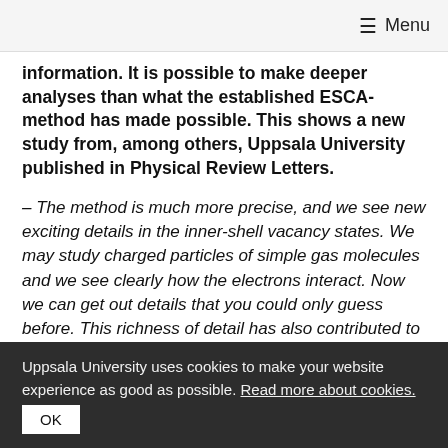≡ Menu
information. It is possible to make deeper analyses than what the established ESCA-method has made possible. This shows a new study from, among others, Uppsala University published in Physical Review Letters.
– The method is much more precise, and we see new exciting details in the inner-shell vacancy states. We may study charged particles of simple gas molecules and we see clearly how the electrons interact. Now we can get out details that you could only guess before. This richness of detail has also contributed to the development of theoretical models to be able to describe our results. Our results is a
Uppsala University uses cookies to make your website experience as good as possible. Read more about cookies.